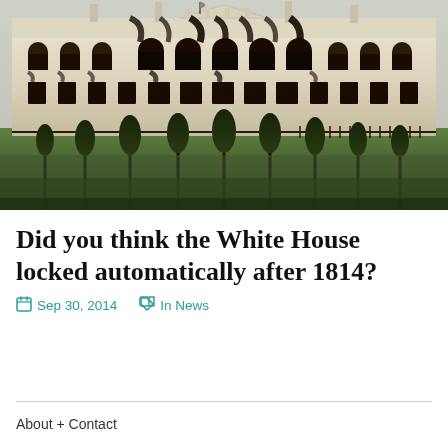[Figure (photo): Historical illustration/painting of the White House after being burned in 1814, showing fire damage with charred window frames and burn marks on the building facade, surrounded by green lawn and trees in the foreground.]
Did you think the White House locked automatically after 1814?
Sep 30, 2014   In News
About + Contact